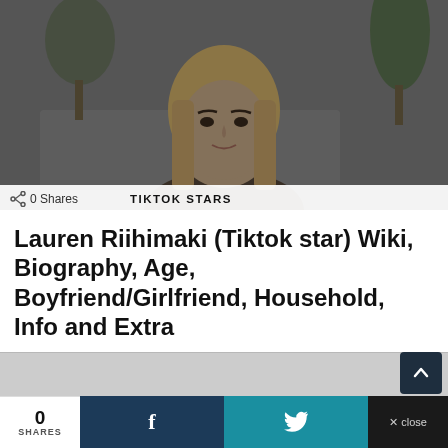[Figure (photo): Young blonde woman with long straight hair, seated in front of a grey couch with green plants, wearing dark top, slightly darkened photo overlay]
0 Shares
TIKTOK STARS
Lauren Riihimaki (Tiktok star) Wiki, Biography, Age, Boyfriend/Girlfriend, Household, Info and Extra
[Figure (other): Advertisement / content block (grey area)]
0
SHARES
f
🐦
✕ close